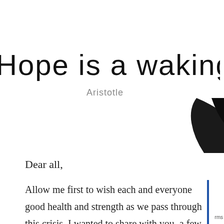Hope is a waking dream
Aristotle
[Figure (photo): Partial black and white photo of a person, cropped at top-right corner]
Dear all,
Allow me first to wish each and everyone good health and strength as we pass through this crisis. I wanted to share with you  a few thoughts as everything seems to